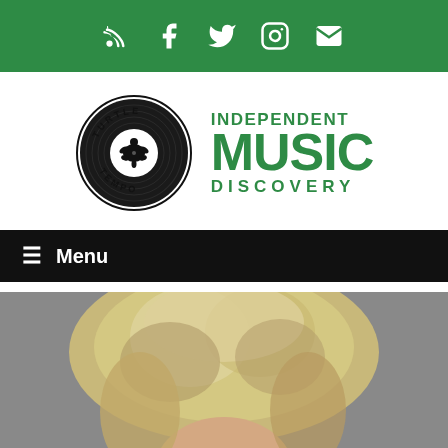RSS Facebook Twitter Instagram Email — social icons bar
[Figure (logo): Turtle Tempo circular logo — black vinyl record with turtle silhouette, text TURTLE TEMPO around edge]
INDEPENDENT MUSIC DISCOVERY
☰ Menu
[Figure (photo): Close-up photo of a person with blonde/light hair, head cropped at top of frame, gray background]